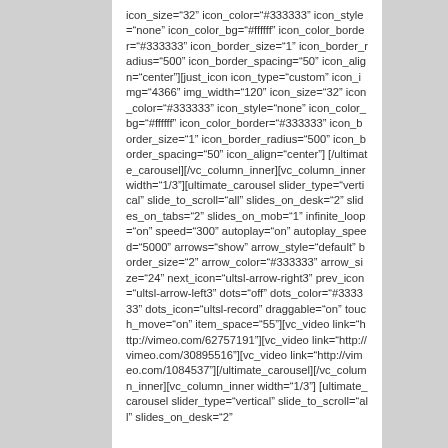icon_size="32" icon_color="#333333" icon_style="none" icon_color_bg="#ffffff" icon_color_border="#333333" icon_border_size="1" icon_border_radius="500" icon_border_spacing="50" icon_align="center"][just_icon icon_type="custom" icon_img="4366" img_width="120" icon_size="32" icon_color="#333333" icon_style="none" icon_color_bg="#ffffff" icon_color_border="#333333" icon_border_size="1" icon_border_radius="500" icon_border_spacing="50" icon_align="center"] [/ultimate_carousel][/vc_column_inner][vc_column_inner width="1/3"][ultimate_carousel slider_type="vertical" slide_to_scroll="all" slides_on_desk="2" slides_on_tabs="2" slides_on_mob="1" infinite_loop="on" speed="300" autoplay="on" autoplay_speed="5000" arrows="show" arrow_style="default" border_size="2" arrow_color="#333333" arrow_size="24" next_icon="ultsl-arrow-right3" prev_icon="ultsl-arrow-left3" dots="off" dots_color="#333333" dots_icon="ultsl-record" draggable="on" touch_move="on" item_space="55"][vc_video link="http://vimeo.com/62757191"][vc_video link="http://vimeo.com/30895516"][vc_video link="http://vimeo.com/1084537"][/ultimate_carousel][/vc_column_inner][vc_column_inner width="1/3"] [ultimate_carousel slider_type="vertical" slide_to_scroll="all" slides_on_desk="2"